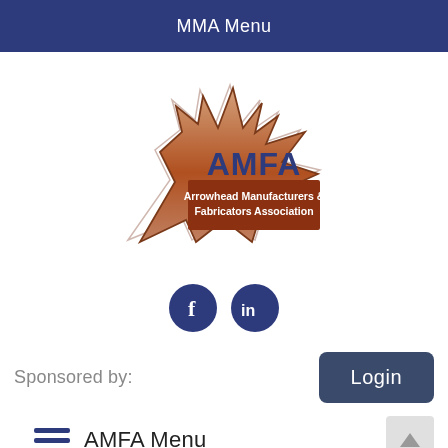MMA Menu
[Figure (logo): AMFA Arrowhead Manufacturers & Fabricators Association logo — arrowhead shape in brown/tan with 'AMFA' in dark blue and 'Arrowhead Manufacturers & Fabricators Association' in white text on brown band]
[Figure (infographic): Facebook and LinkedIn social media icon buttons (dark navy blue circles with f and 'in' icons)]
Sponsored by:
Login
AMFA Menu